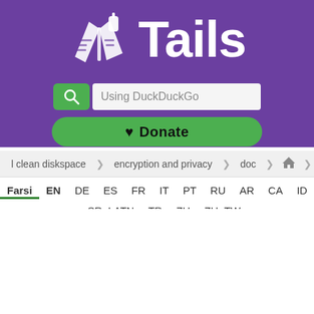[Figure (logo): Tails OS logo — white stylized laptop/USB icon on purple background with 'Tails' text]
[Figure (screenshot): Search bar with DuckDuckGo label and green search button]
[Figure (screenshot): Green Donate button with heart icon]
clean diskspace   encryption and privacy   doc   🏠
Farsi  EN  DE  ES  FR  IT  PT  RU  AR  CA  ID  PL
SR_LATN  TR  ZH  ZH_TW